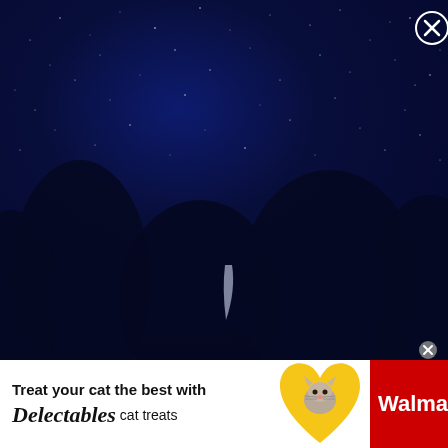[Figure (photo): Night sky scene with dark navy blue background, scattered faint white stars, and a thin crescent moon sliver visible near the bottom center of the sky portion. A close (X) button in a circle appears in the top-right corner.]
[Figure (infographic): Advertisement banner at the bottom. Left white section: 'Treat your cat the best with Delectables cat treats'. Center: yellow heart shape with a cat photo. Right red section: Walmart logo with spark icon in white.]